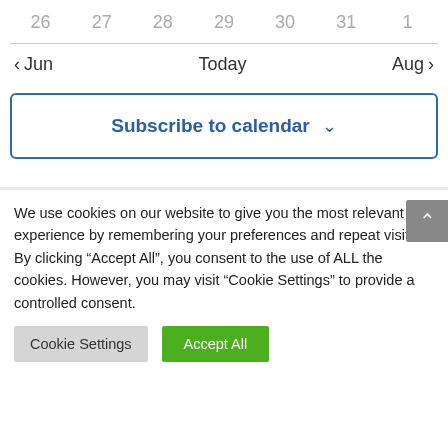26  27  28  29  30  31  1
< Jun    Today    Aug >
Subscribe to calendar ˅
We use cookies on our website to give you the most relevant experience by remembering your preferences and repeat visits. By clicking "Accept All", you consent to the use of ALL the cookies. However, you may visit "Cookie Settings" to provide a controlled consent.
Cookie Settings
Accept All